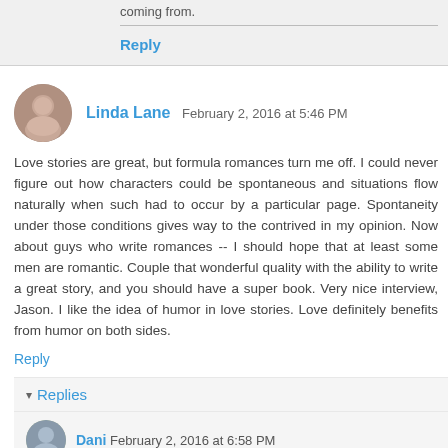coming from.
Reply
Linda Lane  February 2, 2016 at 5:46 PM
Love stories are great, but formula romances turn me off. I could never figure out how characters could be spontaneous and situations flow naturally when such had to occur by a particular page. Spontaneity under those conditions gives way to the contrived in my opinion. Now about guys who write romances -- I should hope that at least some men are romantic. Couple that wonderful quality with the ability to write a great story, and you should have a super book. Very nice interview, Jason. I like the idea of humor in love stories. Love definitely benefits from humor on both sides.
Reply
Replies
Dani  February 2, 2016 at 6:58 PM